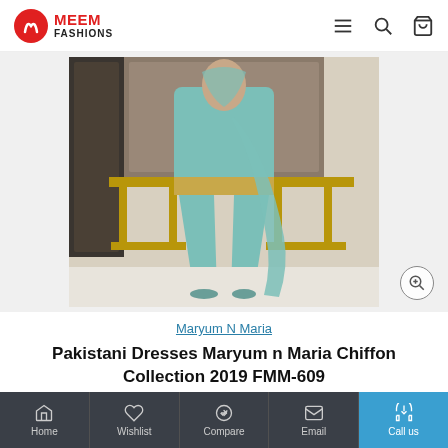MEEM FASHIONS
[Figure (photo): Fashion product photo showing a model wearing a teal/mint chiffon Pakistani dress suit with embroidered details, wide-leg pants, and a dupatta, posed in an ornate gold-decorated interior setting.]
Maryum N Maria
Pakistani Dresses Maryum n Maria Chiffon Collection 2019 FMM-609
Home | Wishlist | Compare | Email | Call us